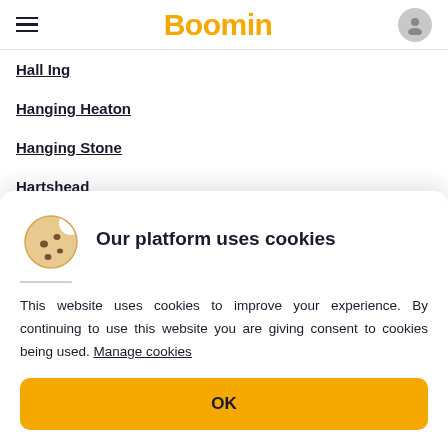Boomin
Hall Ing
Hanging Heaton
Hanging Stone
Hartshead
Hartshead Moor Side
[Figure (illustration): Cookie emoji illustration - round cookie with bite taken out and chocolate chips]
Our platform uses cookies
This website uses cookies to improve your experience. By continuing to use this website you are giving consent to cookies being used. Manage cookies